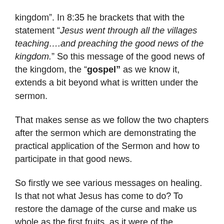kingdom”. In 8:35 he brackets that with the statement “Jesus went through all the villages teaching….and preaching the good news of the kingdom.” So this message of the good news of the kingdom, the “gospel” as we know it, extends a bit beyond what is written under the sermon.
That makes sense as we follow the two chapters after the sermon which are demonstrating the practical application of the Sermon and how to participate in that good news.
So firstly we see various messages on healing. Is that not what Jesus has come to do? To restore the damage of the curse and make us whole as the first fruits, as it were of the Messianic age which lead to the ultimate consummation of the kingdom. Within those stories of healing there is an emphasis on faith, which is the key factor for the “news” to become experientially real for